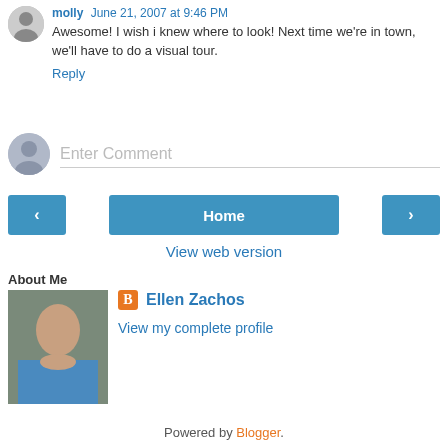molly June 21, 2007 at 9:46 PM
Awesome! I wish i knew where to look! Next time we're in town, we'll have to do a visual tour.
Reply
Enter Comment
Home
View web version
About Me
Ellen Zachos
View my complete profile
Powered by Blogger.